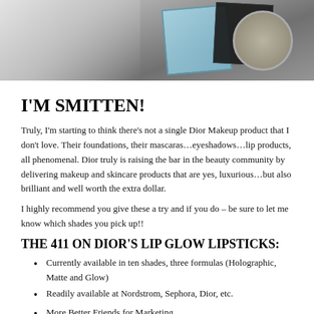[Figure (photo): Photo of beauty/makeup items on a marble surface including decorative cards and a round jewelry dish with green and metallic embellishments]
I'M SMITTEN!
Truly, I'm starting to think there's not a single Dior Makeup product that I don't love. Their foundations, their mascaras…eyeshadows…lip products, all phenomenal. Dior truly is raising the bar in the beauty community by delivering makeup and skincare products that are yes, luxurious…but also brilliant and well worth the extra dollar.
I highly recommend you give these a try and if you do – be sure to let me know which shades you pick up!!
THE 411 ON DIOR'S LIP GLOW LIPSTICKS:
Currently available in ten shades, three formulas (Holographic, Matte and Glow)
Readily available at Nordstrom, Sephora, Dior, etc.
More Better Friends for Marketing